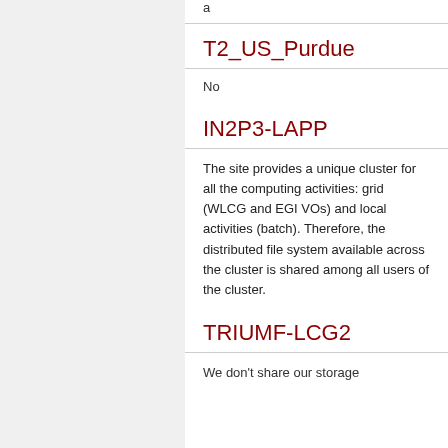a
T2_US_Purdue
No
IN2P3-LAPP
The site provides a unique cluster for all the computing activities: grid (WLCG and EGI VOs) and local activities (batch). Therefore, the distributed file system available across the cluster is shared among all users of the cluster.
TRIUMF-LCG2
We don't share our storage